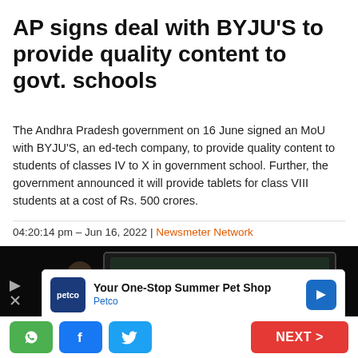AP signs deal with BYJU'S to provide quality content to govt. schools
The Andhra Pradesh government on 16 June signed an MoU with BYJU'S, an ed-tech company, to provide quality content to students of classes IV to X in government school. Further, the government announced it will provide tablets for class VIII students at a cost of Rs. 500 crores.
04:20:14 pm – Jun 16, 2022 | Newsmeter Network
[Figure (photo): Person (teacher/presenter) standing at a large digital blackboard with geometric diagrams, set against a dark background. The blackboard is displayed on a large rectangular screen.]
[Figure (infographic): Advertisement for Petco - 'Your One-Stop Summer Pet Shop' with Petco logo and navigation arrow icon]
NEXT >